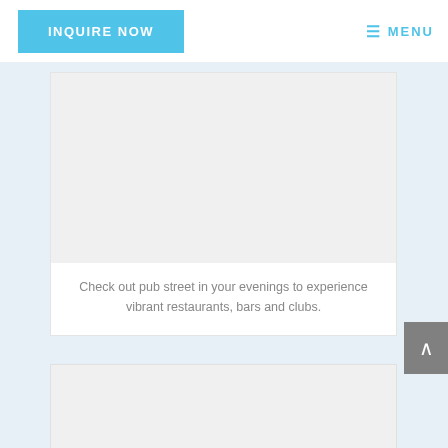INQUIRE NOW  ≡ MENU
[Figure (photo): Placeholder image block (light gray) representing a pub street photo]
Check out pub street in your evenings to experience vibrant restaurants, bars and clubs.
[Figure (photo): Placeholder image block (light gray) representing a second photo]